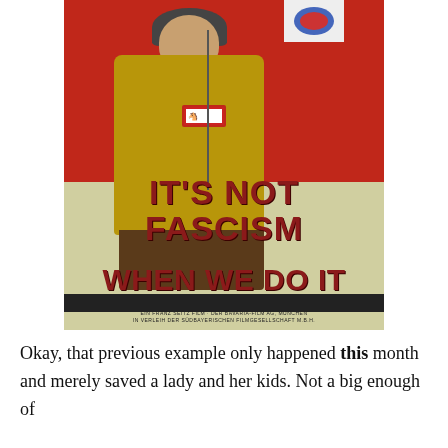[Figure (illustration): A manipulated propaganda poster showing a uniformed soldier figure holding a flag, with a Democratic Party donkey logo on his armband. Bold red text overlay reads 'IT'S NOT FASCISM WHEN WE DO IT'. Small print at bottom references a Bavaria film company.]
Okay, that previous example only happened this month and merely saved a lady and her kids. Not a big enough of